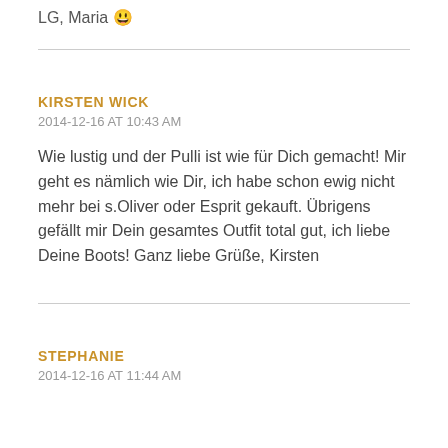LG, Maria 😊
KIRSTEN WICK
2014-12-16 AT 10:43 AM
Wie lustig und der Pulli ist wie für Dich gemacht! Mir geht es nämlich wie Dir, ich habe schon ewig nicht mehr bei s.Oliver oder Esprit gekauft. Übrigens gefällt mir Dein gesamtes Outfit total gut, ich liebe Deine Boots! Ganz liebe Grüße, Kirsten
STEPHANIE
2014-12-16 AT 11:44 AM